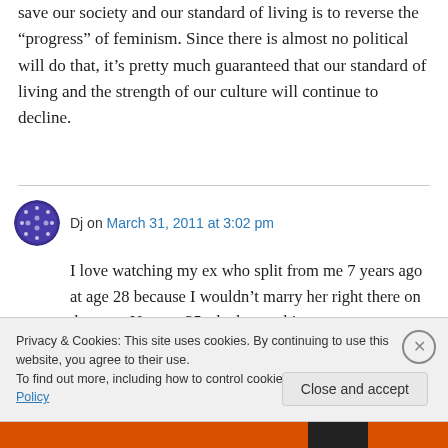save our society and our standard of living is to reverse the “progress” of feminism. Since there is almost no political will do that, it’s pretty much guaranteed that our standard of living and the strength of our culture will continue to decline.
Dj on March 31, 2011 at 3:02 pm
I love watching my ex who split from me 7 years ago at age 28 because I wouldn’t marry her right there on the spot. Now, at 35, she has nothing,
Privacy & Cookies: This site uses cookies. By continuing to use this website, you agree to their use.
To find out more, including how to control cookies, see here: Cookie Policy